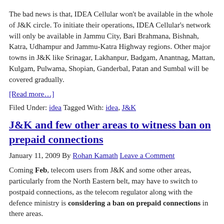The bad news is that, IDEA Cellular won't be available in the whole of J&K circle. To initiate their operations, IDEA Cellular's network will only be available in Jammu City, Bari Brahmana, Bishnah, Katra, Udhampur and Jammu-Katra Highway regions. Other major towns in J&K like Srinagar, Lakhanpur, Badgam, Anantnag, Mattan, Kulgam, Pulwama, Shopian, Ganderbal, Patan and Sumbal will be covered gradually.
[Read more…]
Filed Under: idea Tagged With: idea, J&K
J&K and few other areas to witness ban on prepaid connections
January 11, 2009 By Rohan Kamath Leave a Comment
Coming Feb, telecom users from J&K and some other areas, particularly from the North Eastern belt, may have to switch to postpaid connections, as the telecom regulator along with the defence ministry is considering a ban on prepaid connections in there areas.
The decision could be interesting for many, as till now, some sources...